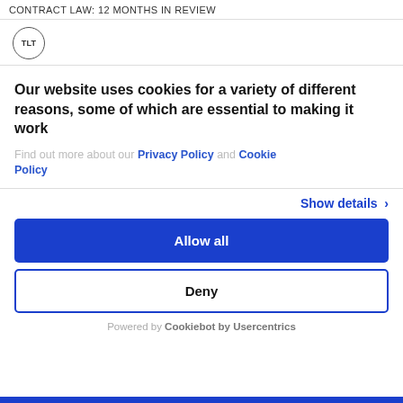CONTRACT LAW: 12 MONTHS IN REVIEW
[Figure (logo): TLT logo in a circle]
Our website uses cookies for a variety of different reasons, some of which are essential to making it work
Find out more about our Privacy Policy and Cookie Policy
Show details >
Allow all
Deny
Powered by Cookiebot by Usercentrics